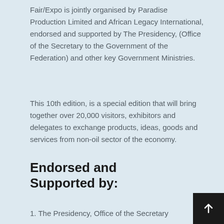Fair/Expo is jointly organised by Paradise Production Limited and African Legacy International, endorsed and supported by The Presidency, (Office of the Secretary to the Government of the Federation) and other key Government Ministries.
This 10th edition, is a special edition that will bring together over 20,000 visitors, exhibitors and delegates to exchange products, ideas, goods and services from non-oil sector of the economy.
Endorsed and Supported by:
1. The Presidency, Office of the Secretary